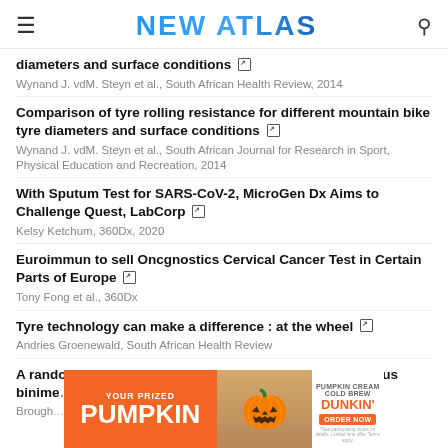NEW ATLAS
diameters and surface conditions
Comparison of tyre rolling resistance for different mountain bike tyre diameters and surface conditions
With Sputum Test for SARS-CoV-2, MicroGen Dx Aims to Challenge Quest, LabCorp
Euroimmun to sell Oncgnostics Cervical Cancer Test in Certain Parts of Europe
Tyre technology can make a difference : at the wheel
A randomized, open-label, phase III trial of encorafenib plus binimetinib … BRAF V600-m…
[Figure (other): Dunkin advertisement banner showing 'YOUR PRIZED PUMPKIN' with pumpkin cream cold brew promotion and ORDER NOW button]